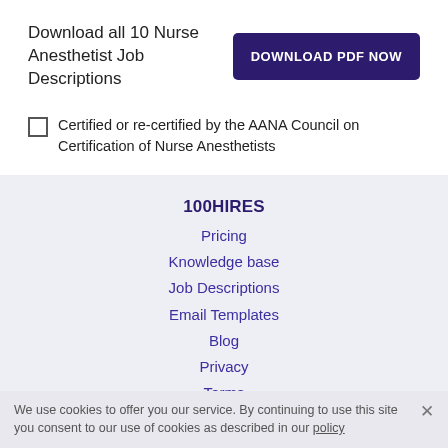Download all 10 Nurse Anesthetist Job Descriptions
[Figure (other): DOWNLOAD PDF NOW button]
Certified or re-certified by the AANA Council on Certification of Nurse Anesthetists
100HIRES
Pricing
Knowledge base
Job Descriptions
Email Templates
Blog
Privacy
Terms
Contact Us
We use cookies to offer you our service. By continuing to use this site you consent to our use of cookies as described in our policy